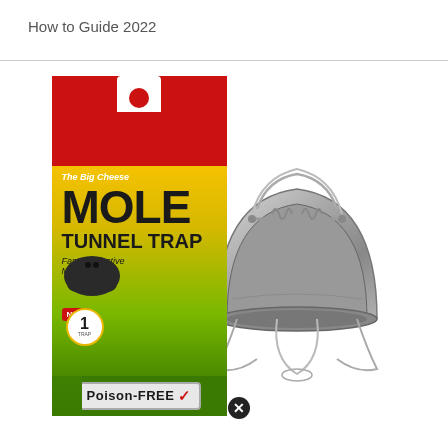How to Guide 2022
[Figure (photo): Product photo showing The Big Cheese Mole Tunnel Trap box (red, yellow, and green packaging) alongside the actual metal mole tunnel trap device. The box reads 'The Big Cheese MOLE TUNNEL TRAP, Fast & Effective Mole Control, NEW, 1 TRAP, Poison-FREE'. A black circle with X icon appears at the bottom center of the image.]